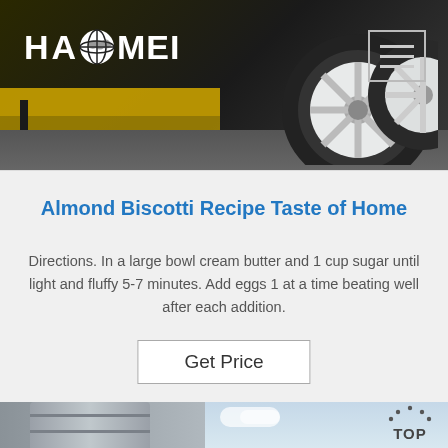[Figure (photo): Website header showing HAOMEI logo on dark background with yellow equipment and a tire/wheel visible on the right side]
Almond Biscotti Recipe Taste of Home
Directions. In a large bowl cream butter and 1 cup sugar until light and fluffy 5-7 minutes. Add eggs 1 at a time beating well after each addition.
[Figure (screenshot): Get Price button with border]
[Figure (photo): Bottom section showing industrial silo/tower on the left and sky on the right, with a TOP navigation button in the lower right]